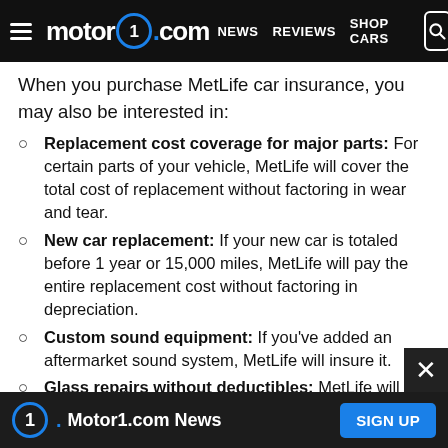motor1.com | NEWS  REVIEWS  SHOP CARS
When you purchase MetLife car insurance, you may also be interested in:
Replacement cost coverage for major parts: For certain parts of your vehicle, MetLife will cover the total cost of replacement without factoring in wear and tear.
New car replacement: If your new car is totaled before 1 year or 15,000 miles, MetLife will pay the entire replacement cost without factoring in depreciation.
Custom sound equipment: If you've added an aftermarket sound system, MetLife will insure it.
Glass repairs without deductibles: MetLife will waive your deductible for small window or windshield
Motor1.com News  SIGN UP